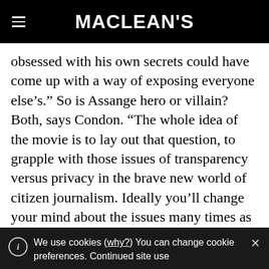MACLEAN'S
obsessed with his own secrets could have come up with a way of exposing everyone else’s.” So is Assange hero or villain? Both, says Condon. “The whole idea of the movie is to lay out that question, to grapple with those issues of transparency versus privacy in the brave new world of citizen journalism. Ideally you’ll change your mind about the issues many times as you watch it.”
We use cookies (why?) You can change cookie preferences. Continued site use